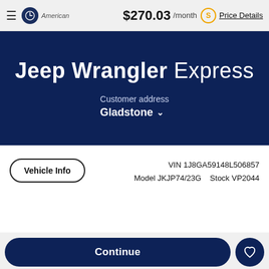$270.03 /month Price Details
Jeep Wrangler Express
Customer address Gladstone
VIN 1J8GA59148L506857 Model JKJP74/23G Stock VP2044
Vehicle Info
Continue